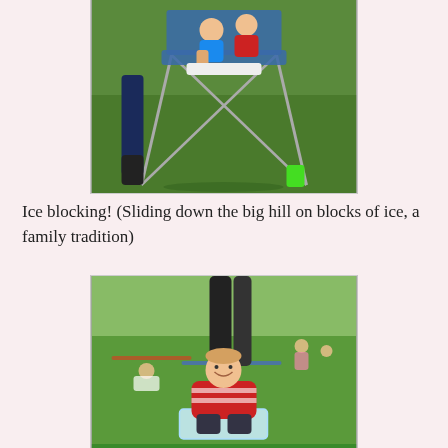[Figure (photo): Children sitting on a folding camp chair on grass, with a green cup visible on the ground nearby. An adult stands beside them.]
Ice blocking! (Sliding down the big hill on blocks of ice, a family tradition)
[Figure (photo): A smiling boy in a red striped shirt sitting on a block of ice on a grassy hill, with other people and blankets visible in the background.]